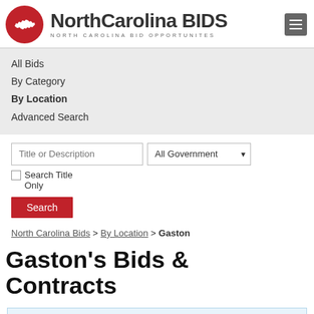[Figure (logo): NorthCarolina BIDS logo with red circle containing NC state outline silhouette, text 'NorthCarolina BIDS' and subtitle 'NORTH CAROLINA BID OPPORTUNITES']
All Bids
By Category
By Location
Advanced Search
Title or Description | All Government ▾ | ☐ Search Title Only
Search
North Carolina Bids > By Location > Gaston
Gaston's Bids & Contracts
Looking for more state & federal bids?